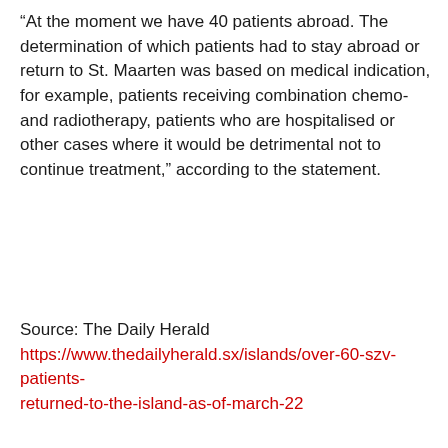“At the moment we have 40 patients abroad. The determination of which patients had to stay abroad or return to St. Maarten was based on medical indication, for example, patients receiving combination chemo- and radiotherapy, patients who are hospitalised or other cases where it would be detrimental not to continue treatment,” according to the statement.
Source: The Daily Herald
https://www.thedailyherald.sx/islands/over-60-szv-patients-returned-to-the-island-as-of-march-22